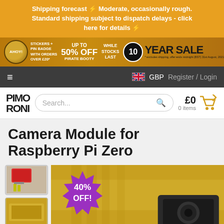Shipping forecast – Moderate, occasionally rough. Standard shipping subject to dispatch delays - click here for details –
[Figure (infographic): Sale banner: AHOY! badge, STICKERS + PIN BADGE WITH ORDERS OVER £20, UP TO 50% OFF PIRATE BOOTY, WHILE STOCKS LAST, 10 YEAR SALE]
☰  🇬🇧 GBP  Register / Login
[Figure (logo): PIMORONI logo with search bar and cart showing £0 0 items]
Camera Module for Raspberry Pi Zero
[Figure (photo): Product photo of Camera Module for Raspberry Pi Zero showing flexible cable and camera sensor, with 40% OFF badge overlay. Thumbnail images on left side.]